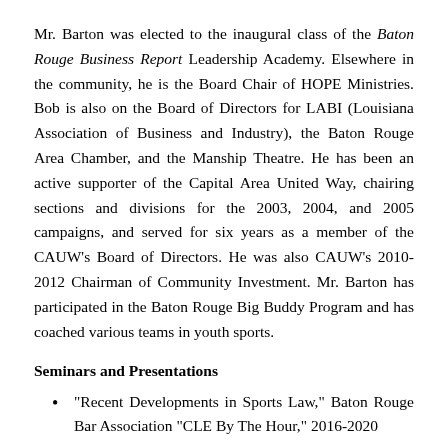Mr. Barton was elected to the inaugural class of the Baton Rouge Business Report Leadership Academy. Elsewhere in the community, he is the Board Chair of HOPE Ministries. Bob is also on the Board of Directors for LABI (Louisiana Association of Business and Industry), the Baton Rouge Area Chamber, and the Manship Theatre. He has been an active supporter of the Capital Area United Way, chairing sections and divisions for the 2003, 2004, and 2005 campaigns, and served for six years as a member of the CAUW’s Board of Directors. He was also CAUW’s 2010-2012 Chairman of Community Investment. Mr. Barton has participated in the Baton Rouge Big Buddy Program and has coached various teams in youth sports.
Seminars and Presentations
"Recent Developments in Sports Law," Baton Rouge Bar Association "CLE By The Hour," 2016-2020
"Current Issues in Sports Law" Panel, LSU Law Center, 2016-2018